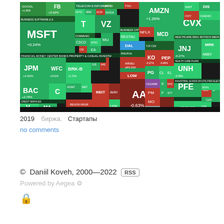[Figure (other): Stock market treemap showing S&P 500 sectors and companies with color-coded performance (green = up, red = down). Major tickers visible include AMZN +1.26%, MSFT +0.24%, GOOGL, FB, T, VZ, JPM +2.62%, BAC +2.29%, CVX, JNJ -0.27%, PFE, AAPL -0.63%, HD, MO, NKE, GE, and many others organized by sector: Technology, Financial, Consumer Goods, Healthcare, Industrial Goods, Utilities.]
2019  биржа.  Стартапы
no comments
© Daniil Koveh, 2000—2022  RSS
Powered by Aegea